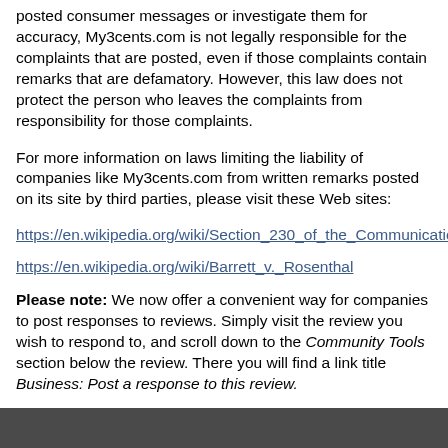posted consumer messages or investigate them for accuracy, My3cents.com is not legally responsible for the complaints that are posted, even if those complaints contain remarks that are defamatory. However, this law does not protect the person who leaves the complaints from responsibility for those complaints.
For more information on laws limiting the liability of companies like My3cents.com from written remarks posted on its site by third parties, please visit these Web sites:
https://en.wikipedia.org/wiki/Section_230_of_the_Communications_Dec
https://en.wikipedia.org/wiki/Barrett_v._Rosenthal
Please note: We now offer a convenient way for companies to post responses to reviews. Simply visit the review you wish to respond to, and scroll down to the Community Tools section below the review. There you will find a link title Business: Post a response to this review.